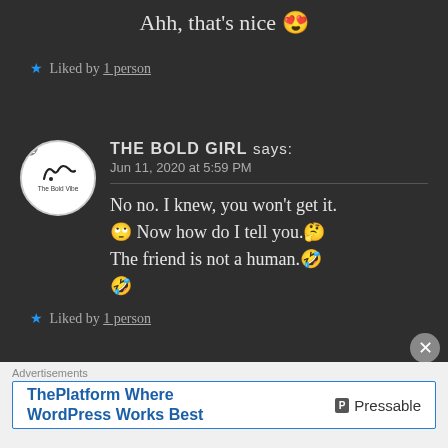Ahh, that's nice 😍
★ Liked by 1 person
THE BOLD GIRL says:
Jun 11, 2020 at 5:59 PM
No no. I knew, you won't get it. 🙄 Now how do I tell you.🤔 The friend is not a human.😂 🤣
★ Liked by 1 person
Advertisements
ThePlatform Where WordPress Works Best — Pressable